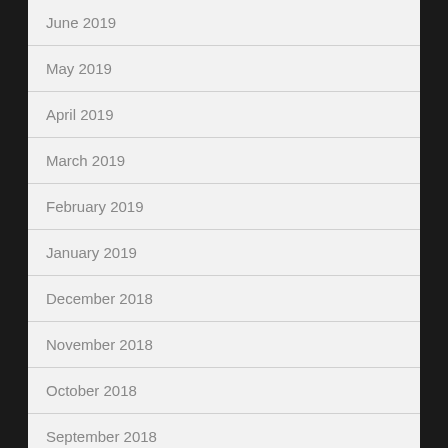June 2019
May 2019
April 2019
March 2019
February 2019
January 2019
December 2018
November 2018
October 2018
September 2018